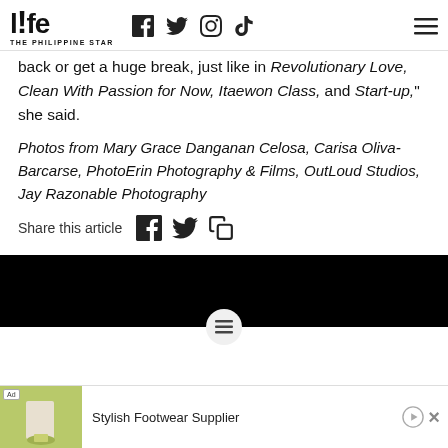l!fe THE PHILIPPINE STAR
back or get a huge break, just like in Revolutionary Love, Clean With Passion for Now, Itaewon Class, and Start-up," she said.
Photos from Mary Grace Danganan Celosa, Carisa Oliva-Barcarse, PhotoErin Photography & Films, OutLoud Studios, Jay Razonable Photography
Share this article
[Figure (other): Black banner with menu icon circle]
[Figure (other): Advertisement banner: Stylish Footwear Supplier with yellow shoe image]